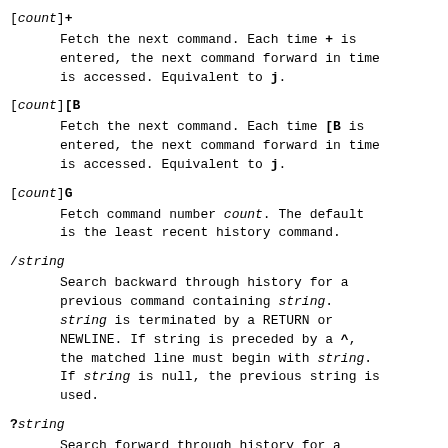[count]+
    Fetch the next command. Each time + is entered, the next command forward in time is accessed. Equivalent to j.
[count][B
    Fetch the next command. Each time [B is entered, the next command forward in time is accessed. Equivalent to j.
[count]G
    Fetch command number count. The default is the least recent history command.
/string
    Search backward through history for a previous command containing string. string is terminated by a RETURN or NEWLINE. If string is preceded by a ^, the matched line must begin with string. If string is null, the previous string is used.
?string
    Search forward through history for a previous command containing string. string is terminated by a RETURN or NEWLINE. If string is preceded by a ^, the matched line must begin with string. If string is null, the previous string is